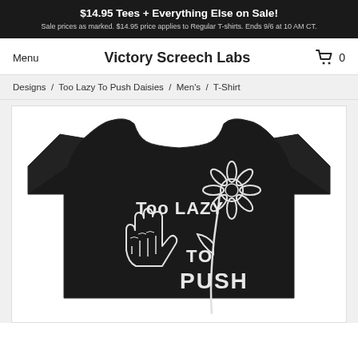$14.95 Tees + Everything Else on Sale! Sale prices as marked. $14.95 price applies to Regular T-shirts. Ends 9/6 at 10 AM CT.
Menu
Victory Screech Labs
0
Designs / Too Lazy To Push Daisies / Men's / T-Shirt
[Figure (photo): Black t-shirt with white outline design showing a skeleton hand holding a daisy flower, with text reading 'Too LAZY TO PUSH' on the shirt.]